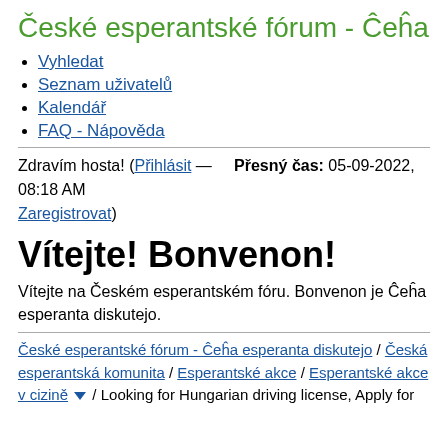České esperantské fórum - Ĉeĥa
Vyhledat
Seznam uživatelů
Kalendář
FAQ - Nápověda
Zdravím hosta! (Přihlásit — Zaregistrovat)    Přesný čas: 05-09-2022, 08:18 AM
Vítejte! Bonvenon!
Vítejte na Českém esperantském fóru. Bonvenon je Ĉeĥa esperanta diskutejo.
České esperantské fórum - Ĉeĥa esperanta diskutejo / Česká esperantská komunita / Esperantské akce / Esperantské akce v cizině ▼ / Looking for Hungarian driving license, Apply for